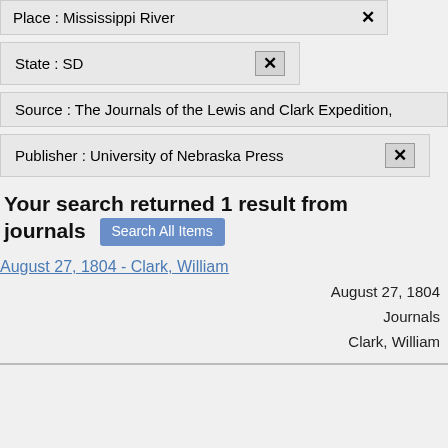Place : Mississippi River ✕
State : SD ✕
Source : The Journals of the Lewis and Clark Expedition,
Publisher : University of Nebraska Press ✕
Your search returned 1 result from journals Search All Items
August 27, 1804 - Clark, William
August 27, 1804
Journals
Clark, William